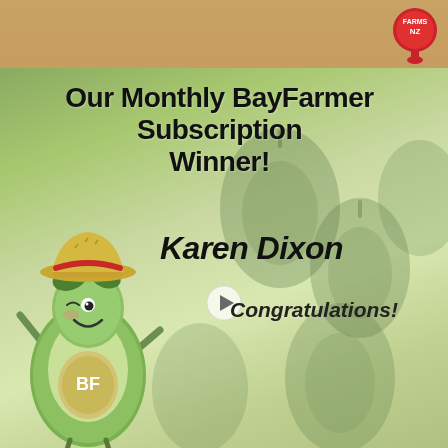[Figure (photo): Top banner with blurred avocado/fruit background and Farms NZ logo in top right corner]
Our Monthly BayFarmer Subscription Winner!
[Figure (illustration): Cartoon avocado mascot wearing a straw hat with red band, waving one arm, bearing 'BF' logo on body, standing on thin legs]
Karen Dixon
Congratulations!